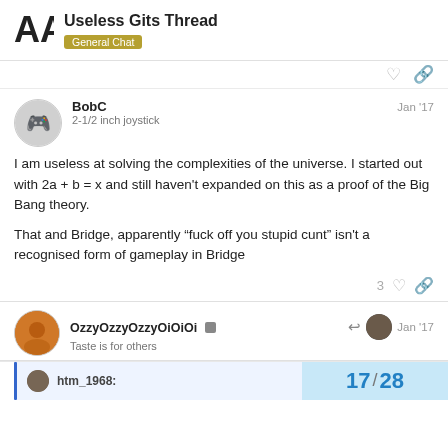Useless Gits Thread — General Chat
BobC
2-1/2 inch joystick
Jan '17
I am useless at solving the complexities of the universe. I started out with 2a + b = x and still haven't expanded on this as a proof of the Big Bang theory.

That and Bridge, apparently “fuck off you stupid cunt” isn't a recognised form of gameplay in Bridge
3
OzzyOzzyOzzyOiOiOi
Taste is for others
Jan '17
htm_1968:
17 / 28